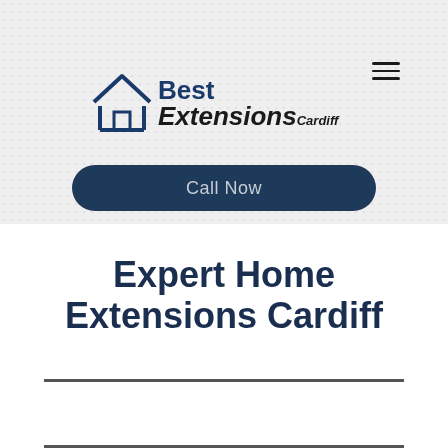[Figure (logo): Best Extensions Cardiff logo with house icon and text]
Call Now
Expert Home Extensions Cardiff